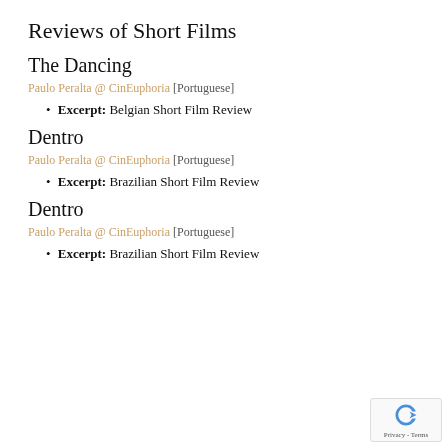Reviews of Short Films
The Dancing
Paulo Peralta @ CinEuphoria [Portuguese]
Excerpt: Belgian Short Film Review
Dentro
Paulo Peralta @ CinEuphoria [Portuguese]
Excerpt: Brazilian Short Film Review
Dentro
Paulo Peralta @ CinEuphoria [Portuguese]
Excerpt: Brazilian Short Film Review